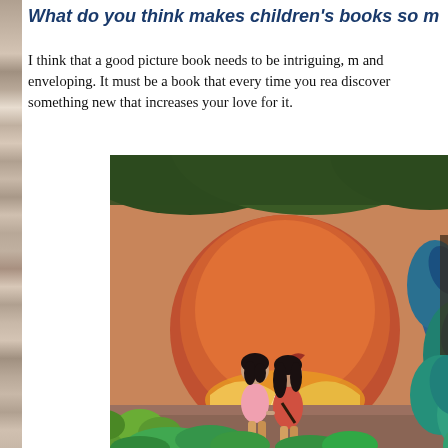What do you think makes children's books so m
I think that a good picture book needs to be intriguing, m and enveloping. It must be a book that every time you rea discover something new that increases your love for it.
[Figure (illustration): Illustration showing two young girls with dark hair holding hands, viewed from behind, standing among lush green and blue foliage. In the background is a large open book glowing with warm orange/red light, set against a dramatic sunset sky with dark green trees overhead.]